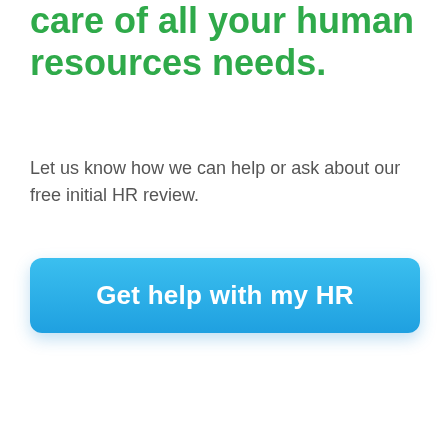care of all your human resources needs.
Let us know how we can help or ask about our free initial HR review.
[Figure (other): Blue call-to-action button labeled 'Get help with my HR']